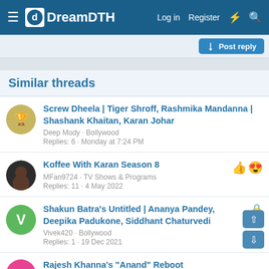DreamDTH — Log in  Register
Similar threads
Screw Dheela | Tiger Shroff, Rashmika Mandanna | Shashank Khaitan, Karan Johar — Deep Mody · Bollywood — Replies: 6 · Monday at 7:24 PM
Koffee With Karan Season 8 — MFan9724 · TV Shows & Programs — Replies: 11 · 4 May 2022
Shakun Batra's Untitled | Ananya Pandey, Deepika Padukone, Siddhant Chaturvedi — Vivek420 · Bollywood — Replies: 1 · 19 Dec 2021
Rajesh Khanna's "Anand" Reboot (partial)